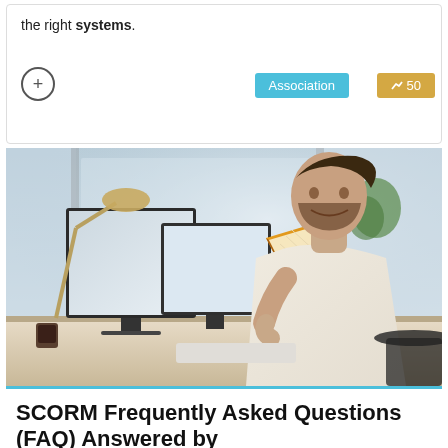the right systems.
[Figure (photo): Man in white shirt sitting at a desk with dual monitors, smiling at the camera while holding an open orange/yellow book. Modern office environment with large windows.]
SCORM Frequently Asked Questions (FAQ) Answered by